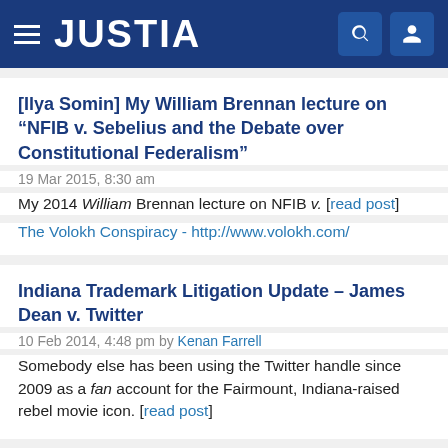JUSTIA
[Ilya Somin] My William Brennan lecture on “NFIB v. Sebelius and the Debate over Constitutional Federalism”
19 Mar 2015, 8:30 am
My 2014 William Brennan lecture on NFIB v. [read post]
The Volokh Conspiracy - http://www.volokh.com/
Indiana Trademark Litigation Update – James Dean v. Twitter
10 Feb 2014, 4:48 pm by Kenan Farrell
Somebody else has been using the Twitter handle since 2009 as a fan account for the Fairmount, Indiana-raised rebel movie icon. [read post]